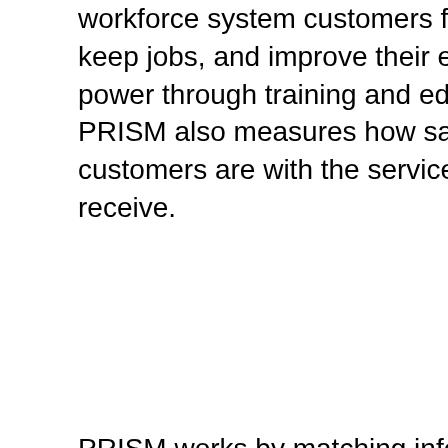workforce system customers find jobs, keep jobs, and improve their earning power through training and education. PRISM also measures how satisfied customers are with the services they receive.
PRISM works by matching information about customers' workforce program participation against quarterly Unemployment Insurance wage records, data from Oregon's education system, and feedback obtained through customer satisfaction surveys. This information is combined into seven performance measures that